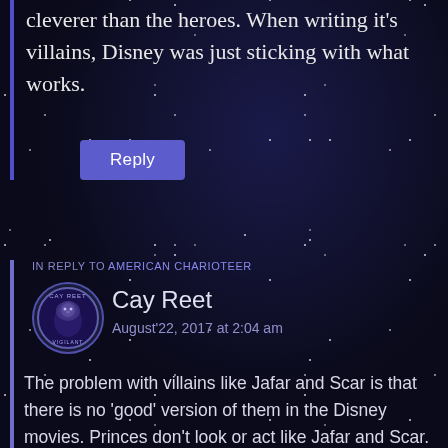cleverer than the heroes. When writing it's villains, Disney was just sticking with what works.
Reply
IN REPLY TO AMERICAN CHARIOTEER
Cay Reet
August'22, 2017 at 2:04 am
The problem with villains like Jafar and Scar is that there is no 'good' version of them in the Disney movies. Princes don't look or act like Jafar and Scar. They might look like Gaston or Hans (who originally was meant to be a hero), but not like the less 'normative' masculine